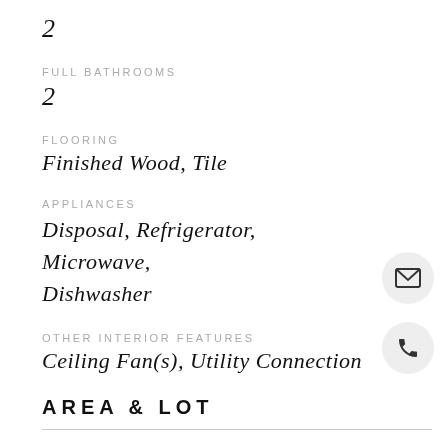2
FULL BATHROOMS
2
FLOORING
Finished Wood, Tile
APPLIANCES
Disposal, Refrigerator, Microwave, Dishwasher
OTHER INTERIOR FEATURES
Ceiling Fan(s), Utility Connection
AREA & LOT
[Figure (illustration): Email icon button (envelope) in circular grey background]
[Figure (illustration): Phone icon button in circular grey background]